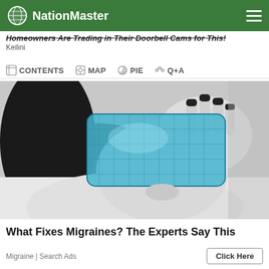NationMaster
Homeowners Are Trading in Their Doorbell Cams for This!
Keilini
CONTENTS  MAP  PIE  Q+A
[Figure (photo): Black and white photo of a woman holding a blue ice/gel pack over her eyes, lying down, wearing a white top.]
What Fixes Migraines? The Experts Say This
Migraine | Search Ads